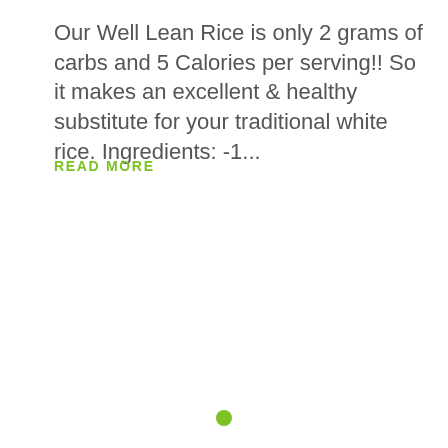Our Well Lean Rice is only 2 grams of carbs and 5 Calories per serving!! So it makes an excellent & healthy substitute for your traditional white rice. Ingredients: -1...
READ MORE
[Figure (other): Small green filled circle dot, used as a pagination indicator at the bottom center of the page]